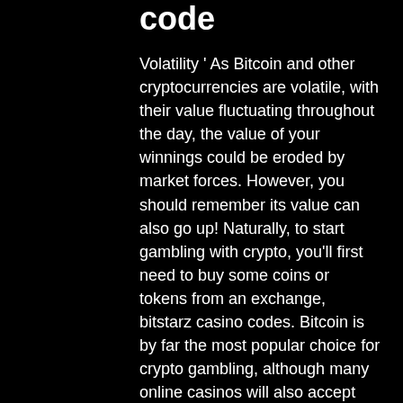code
Volatility ' As Bitcoin and other cryptocurrencies are volatile, with their value fluctuating throughout the day, the value of your winnings could be eroded by market forces. However, you should remember its value can also go up! Naturally, to start gambling with crypto, you'll first need to buy some coins or tokens from an exchange, bitstarz casino codes. Bitcoin is by far the most popular choice for crypto gambling, although many online casinos will also accept 'alt-coins' such as Ethereum, Bitcoin Cash, Litecoin, or even Dogecoin. Its imporant to understand that its the security measurements of the bitcoin casino which takes a while with larger winnings to cash them out ' transactions with bitcoin are submitted in a few minutes to 2 hours in median, no metter how much bitcoin you send, bitstarz casino codes. That's the gist,